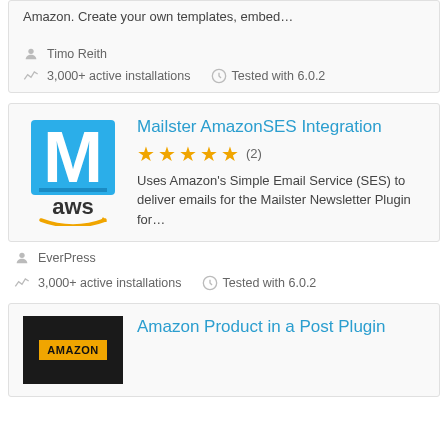Amazon. Create your own templates, embed…
Timo Reith
3,000+ active installations   Tested with 6.0.2
Mailster AmazonSES Integration
★★★★★ (2)
Uses Amazon's Simple Email Service (SES) to deliver emails for the Mailster Newsletter Plugin for…
EverPress
3,000+ active installations   Tested with 6.0.2
Amazon Product in a Post Plugin